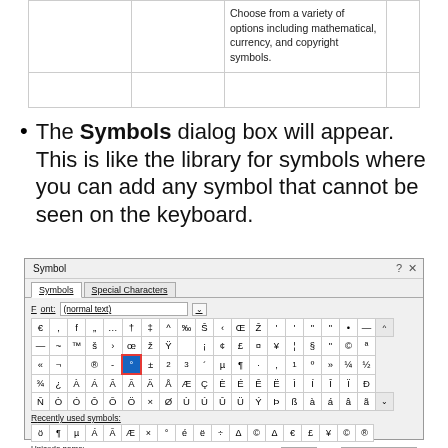|  |  |  |  |
| --- | --- | --- | --- |
|  |  | Choose from a variety of options including mathematical, currency, and copyright symbols. |  |
|  |  |  |  |
The Symbols dialog box will appear. This is like the library for symbols where you can add any symbol that cannot be seen on the keyboard.
[Figure (screenshot): Screenshot of the Microsoft Word Symbol dialog box showing the Symbols tab with a grid of special characters including currency, mathematical and Latin symbols. A symbol (degree-like circle) is selected with blue highlight and red border. Recently used symbols are shown at the bottom. Unicode name and character code fields visible at the bottom showing code 176 from ASCII (decimal).]